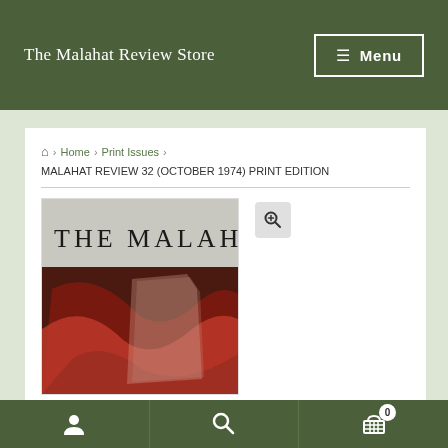The Malahat Review Store | Menu
Home › Print Issues › MALAHAT REVIEW 32 (OCTOBER 1974) PRINT EDITION
[Figure (photo): Cover of The Malahat Review issue 32, showing the title 'THE MALAHAT' in large serif text on a gray band at top, below which is a dark reddish-brown abstract artwork.]
User icon | Search icon | Cart (0)